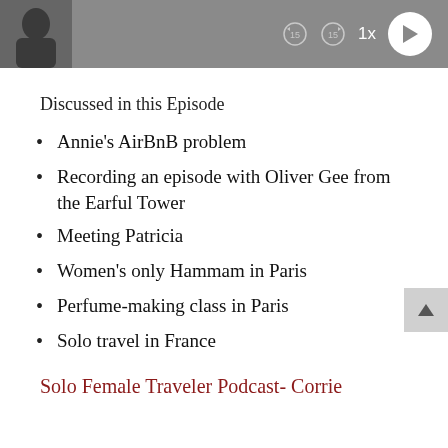[Figure (screenshot): Podcast audio player bar with thumbnail, rewind/forward icons, 1x speed label, and circular play button, on grey background]
Discussed in this Episode
Annie's AirBnB problem
Recording an episode with Oliver Gee from the Earful Tower
Meeting Patricia
Women's only Hammam in Paris
Perfume-making class in Paris
Solo travel in France
Solo Female Traveler Podcast- Corrie